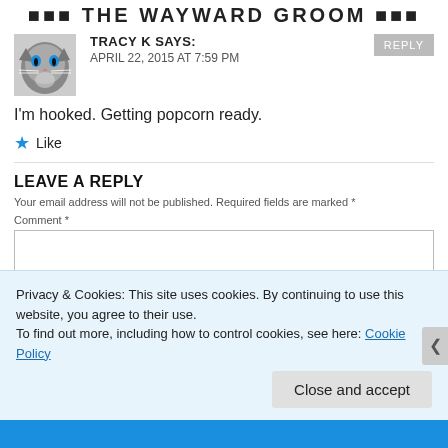...THE WAYWARD GROOM...
TRACY K SAYS:
APRIL 22, 2015 AT 7:59 PM
I'm hooked. Getting popcorn ready.
★ Like
LEAVE A REPLY
Your email address will not be published. Required fields are marked *
Comment *
Privacy & Cookies: This site uses cookies. By continuing to use this website, you agree to their use.
To find out more, including how to control cookies, see here: Cookie Policy
Close and accept